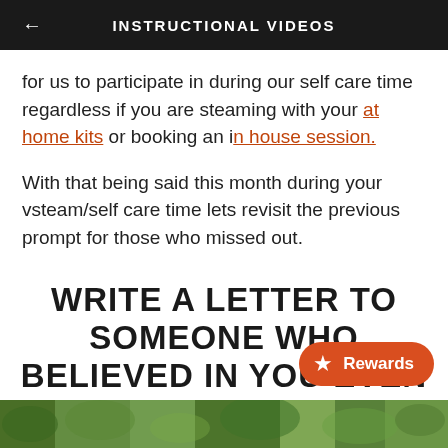INSTRUCTIONAL VIDEOS
for us to participate in during our self care time regardless if you are steaming with your at home kits or booking an in house session.
With that being said this month during your vsteam/self care time lets revisit the previous prompt for those who missed out.
WRITE A LETTER TO SOMEONE WHO BELIEVED IN YOU EVEN WHEN YOU DIDN'T BELIEVE IN YOURSELF
[Figure (photo): Green foliage photo strip at bottom of page]
Rewards